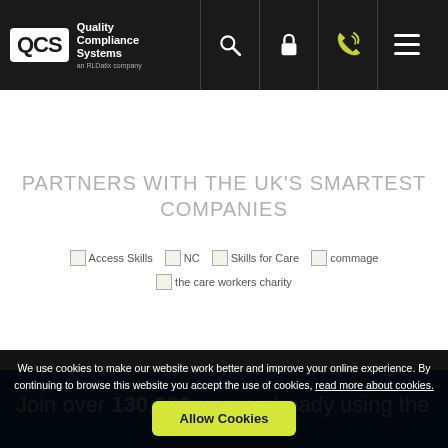Quality Compliance Systems — an RLDatix company
PARTNERS WITH THE UK'S SMARTEST COMPANIES
[Figure (logo): Partner logos: Access Skills, NC, Skills for Care, commage, the care workers charity]
Join over 130,000 users already using the
We use cookies to make our website work better and improve your online experience. By continuing to browse this website you accept the use of cookies, read more about cookies.